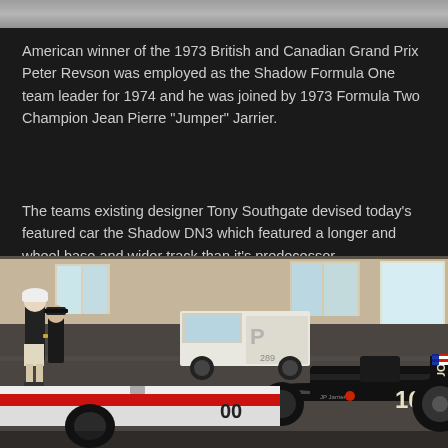[Figure (photo): Top strip of a blurred or cropped photograph, showing a grey/silver surface, likely a portion of the racing car or garage floor.]
American winner of the 1973 British and Canadian Grand Prix Peter Revson was employed as the Shadow Formula One team leader for 1974 and he was joined by 1973 Formula Two Champion Jean Pierre “Jumper” Jarrier.
The teams existing designer Tony Southgate devised today’s featured car the Shadow DN3 which featured a longer and wheel base and wider track than it’s predecessor.
[Figure (photo): Photo of a racing garage interior showing two Formula One cars, including a black Shadow DN3 with number 16 and UOP sponsorship and an American flag. People stand around the cars in a large workshop/pit building.]